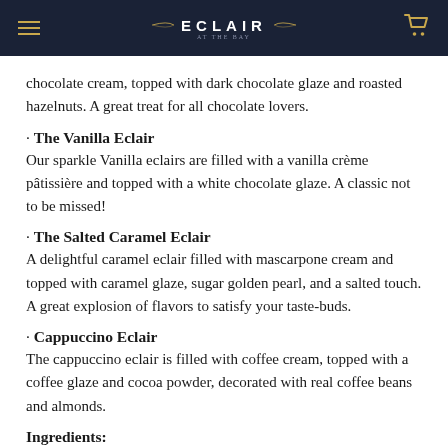ECLAIR
chocolate cream, topped with dark chocolate glaze and roasted hazelnuts. A great treat for all chocolate lovers.
· The Vanilla Eclair
Our sparkle Vanilla eclairs are filled with a vanilla crème pâtissière and topped with a white chocolate glaze. A classic not to be missed!
· The Salted Caramel Eclair
A delightful caramel eclair filled with mascarpone cream and topped with caramel glaze, sugar golden pearl, and a salted touch. A great explosion of flavors to satisfy your taste-buds.
· Cappuccino Eclair
The cappuccino eclair is filled with coffee cream, topped with a coffee glaze and cocoa powder, decorated with real coffee beans and almonds.
Ingredients: